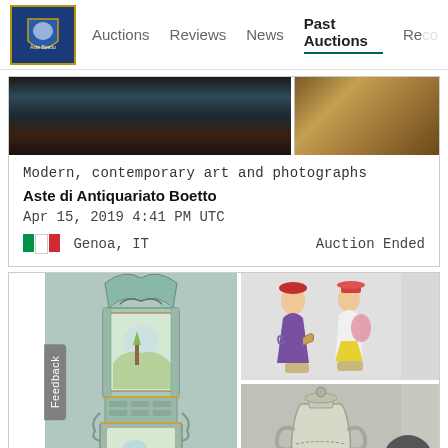Auctions  Reviews  News  Past Auctions  Re...
[Figure (screenshot): Partial auction images at top of first card — dark artwork on left, brownish framed item on right]
Modern, contemporary art and photographs
Aste di Antiquariato Boetto
Apr 15, 2019 4:41 PM UTC
Genoa, IT   Auction Ended
[Figure (photo): Second auction card showing a tall decorative painted cabinet/secretary in light green with scenic paintings, alongside two Meissen-style porcelain figurines on top right and a silver ornate urn/vase on bottom right]